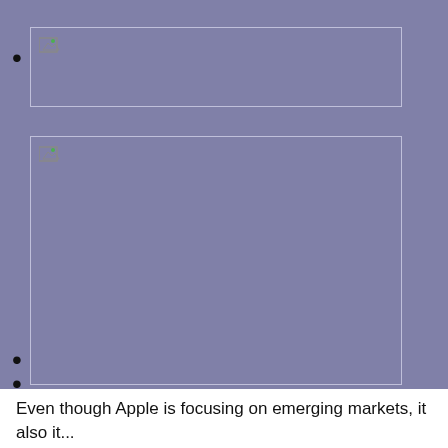[image placeholder 1]
[image placeholder 2]
[image placeholder 3]
Even though Apple is focusing on emerging markets, it also it...